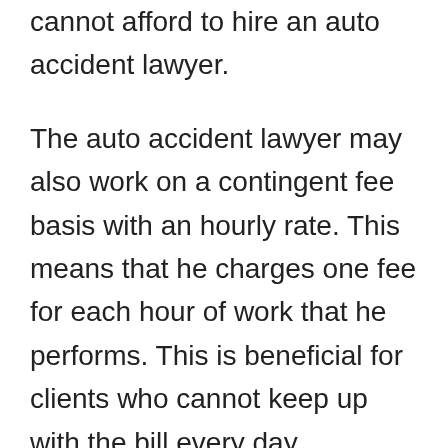cannot afford to hire an auto accident lawyer.
The auto accident lawyer may also work on a contingent fee basis with an hourly rate. This means that he charges one fee for each hour of work that he performs. This is beneficial for clients who cannot keep up with the bill every day. However, this arrangement does not work well for the victim who is in a critical condition and cannot talk properly. Therefore, this type of arrangement is usually reserved for the injured person who is recuperating at home.
If you are in need of an auto accident lawyer, you need to have all the contact information